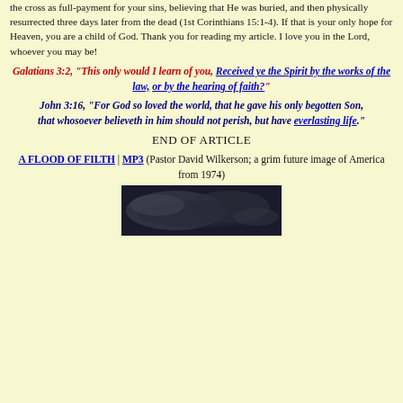the cross as full-payment for your sins, believing that He was buried, and then physically resurrected three days later from the dead (1st Corinthians 15:1-4). If that is your only hope for Heaven, you are a child of God. Thank you for reading my article. I love you in the Lord, whoever you may be!
Galatians 3:2, "This only would I learn of you, Received ye the Spirit by the works of the law, or by the hearing of faith?"
John 3:16, "For God so loved the world, that he gave his only begotten Son, that whosoever believeth in him should not perish, but have everlasting life."
END OF ARTICLE
A FLOOD OF FILTH | MP3 (Pastor David Wilkerson; a grim future image of America from 1974)
[Figure (photo): Dark cloudy or stormy sky image, grayscale]